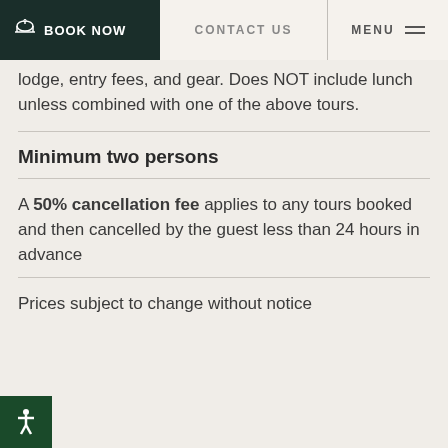BOOK NOW | CONTACT US | MENU
lodge, entry fees, and gear. Does NOT include lunch unless combined with one of the above tours.
Minimum two persons
A 50% cancellation fee applies to any tours booked and then cancelled by the guest less than 24 hours in advance
Prices subject to change without notice